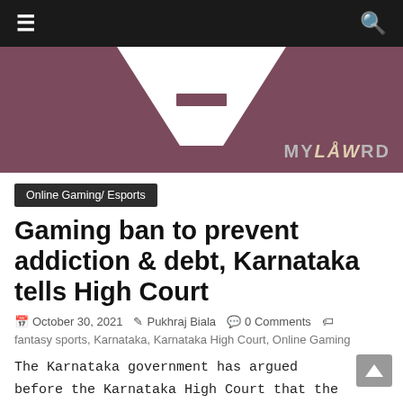≡  🔍
[Figure (logo): MyLawrd website banner with triangular logo shape on dark mauve/purple background and MYLAWRD text in bottom right]
Online Gaming/ Esports
Gaming ban to prevent addiction & debt, Karnataka tells High Court
October 30, 2021  Pukhraj Biala  0 Comments
fantasy sports, Karnataka, Karnataka High Court, Online Gaming
The Karnataka government has argued before the Karnataka High Court that the recent gaming ban is intended to prevent the